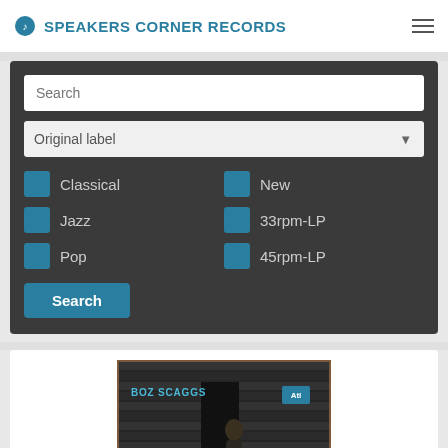SPEAKERS CORNER RECORDS
Search
Original label
Classical
New
Jazz
33rpm-LP
Pop
45rpm-LP
Search
[Figure (photo): Boz Scaggs album cover showing a man standing in front of a building with horizontal slat panels. Text reads BOZ SCAGGS with Atlantic Records logo.]